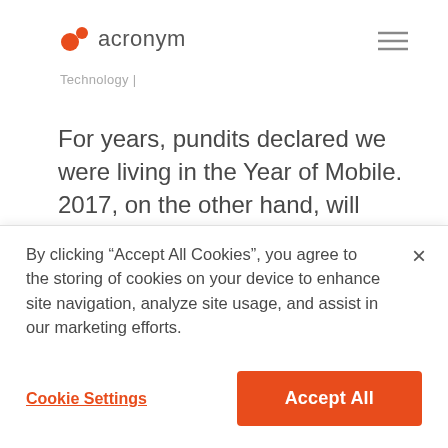acronym | Technology |
For years, pundits declared we were living in the Year of Mobile. 2017, on the other hand, will perhaps be remembered – by marketers at least – as the Year of AI. And, like mobile, there's a lot of development to come before true AI is an integral part of our day-to-
By clicking “Accept All Cookies”, you agree to the storing of cookies on your device to enhance site navigation, analyze site usage, and assist in our marketing efforts.
Cookie Settings   Accept All